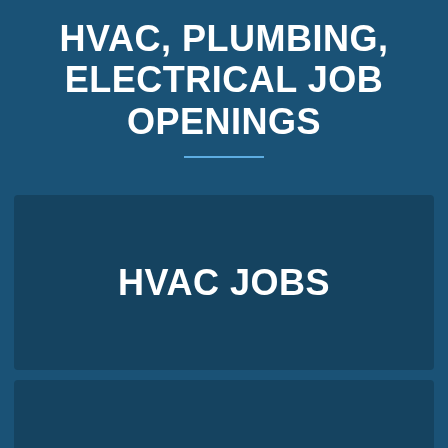HVAC, PLUMBING, ELECTRICAL JOB OPENINGS
HVAC JOBS
PLUMBING JOBS